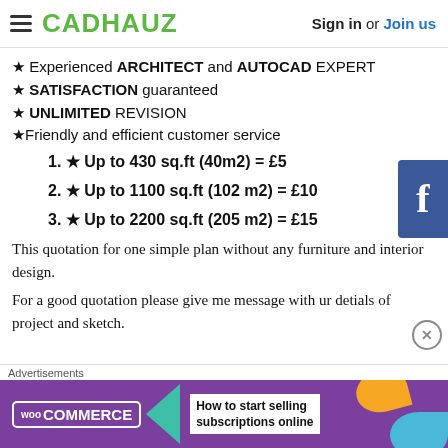CADHAUZ — Sign in or Join us
★ Experienced ARCHITECT and AUTOCAD EXPERT
★ SATISFACTION guaranteed
★ UNLIMITED REVISION
★ Friendly and efficient customer service
1. ★ Up to 430 sq.ft (40m2) = £5
2. ★ Up to 1100 sq.ft (102 m2) = £10
3. ★ Up to 2200 sq.ft (205 m2) = £15
This quotation for one simple plan without any furniture and interior design.
For a good quotation please give me message with ur detials of project and sketch.
Advertisements
[Figure (infographic): WooCommerce advertisement banner — How to start selling subscriptions online]